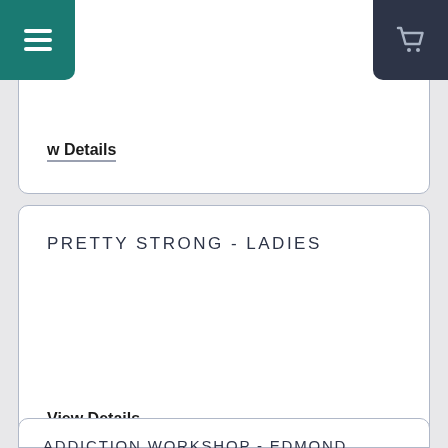w Details
View Details
PRETTY STRONG - LADIES
View Details
SCHOOL OF DISCIPLESHIP
ADDICTION WORKSHOP - EDMOND, OK